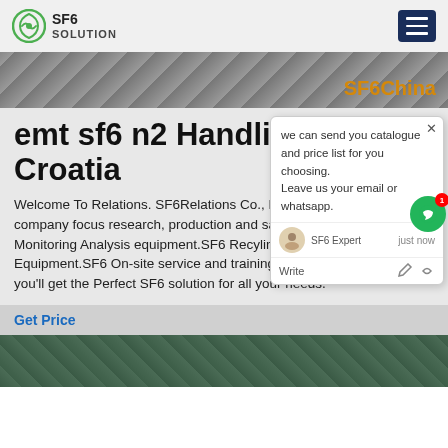SF6 SOLUTION
[Figure (screenshot): Hero image strip showing stone/tile texture with 'SF6China' text in orange on the right]
emt sf6 n2 Handling in Croatia
Welcome To Relations. SF6Relations Co., Ltd. is a professional company focus research, production and sales of SF6 and SF6 Monitoring Analysis equipment.SF6 Recyling Handling Equipment.SF6 On-site service and training.There is a place where you'll get the Perfect SF6 solution for all your needs.
Get Price
[Figure (photo): Bottom image showing industrial/engineering equipment in green tones]